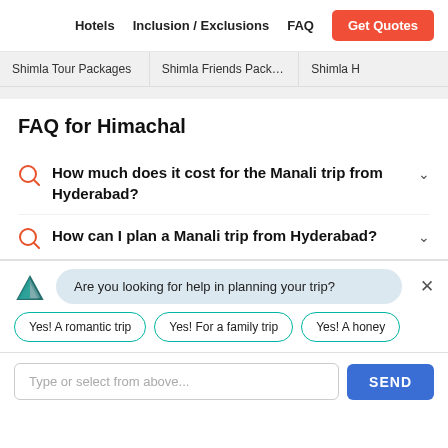Hotels | Inclusion / Exclusions | FAQ | Get Quotes
Shimla Tour Packages
Shimla Friends Packages
Shimla H...
FAQ for Himachal
How much does it cost for the Manali trip from Hyderabad?
How can I plan a Manali trip from Hyderabad?
Are you looking for help in planning your trip?
Yes! A romantic trip
Yes! For a family trip
Yes! A honey...
Type or select from above...
SEND